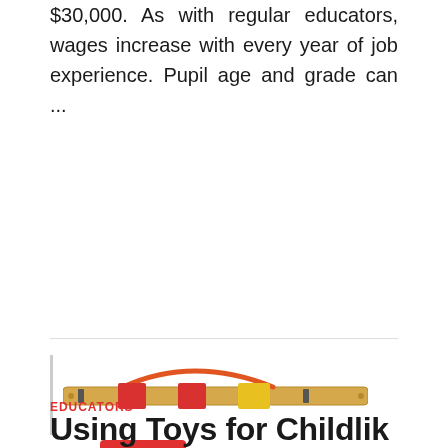$30,000. As with regular educators, wages increase with every year of job experience. Pupil age and grade can ...
READ MORE
[Figure (photo): A wooden toy abacus or counting toy with red, yellow and colored beads, with an orange handle, viewed from the side.]
EDUCATORS
Using Toys for Childlik...